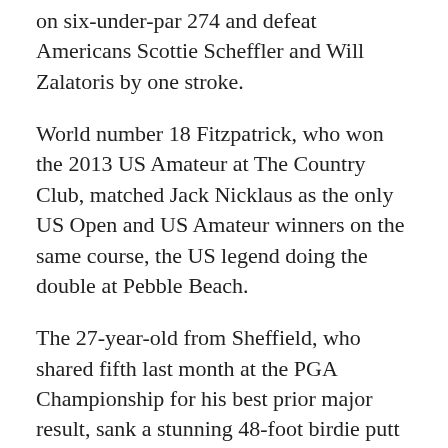on six-under-par 274 and defeat Americans Scottie Scheffler and Will Zalatoris by one stroke.
World number 18 Fitzpatrick, who won the 2013 US Amateur at The Country Club, matched Jack Nicklaus as the only US Open and US Amateur winners on the same course, the US legend doing the double at Pebble Beach.
The 27-year-old from Sheffield, who shared fifth last month at the PGA Championship for his best prior major result, sank a stunning 48-foot birdie putt at the 13th hole to grab a share of the lead.
At the 15th, Fitzpatrick blasted out of the right rough to just inside 19 feet and rolled in a tension-packed putt to reach 6-under and lead by two.
But after birdies by Scheffler at 17 and Zalatoris on 16, Fitzpatrick clung to a one-stroke lead at the 18th tee.
After the Englishman sent his tee shot into a left fairway bunker, he blasted a magnificent approach to 18 feet and